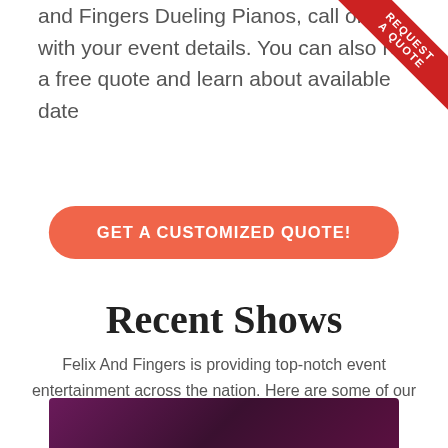and Fingers Dueling Pianos, call or with your event details. You can also re a free quote and learn about available date
[Figure (other): Red diagonal corner ribbon/banner in top-right corner with text 'REQUEST A QUOTE']
[Figure (other): Orange-red rounded button with text 'GET A CUSTOMIZED QUOTE!']
Recent Shows
Felix And Fingers is providing top-notch event entertainment across the nation. Here are some of our recent shows in your area!
[Figure (photo): Dark purple/magenta photo partially visible at the bottom of the page]